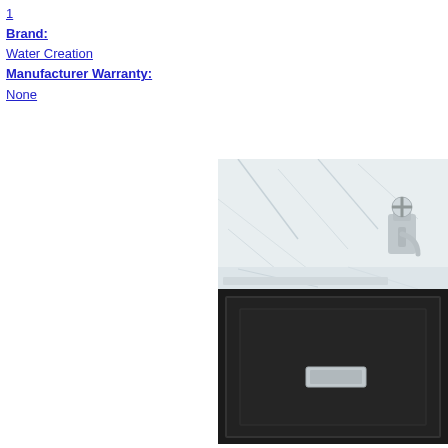1
Brand: Water Creation
Manufacturer Warranty: None
[Figure (photo): Partial view of a bathroom vanity with a white marble countertop and backsplash, a chrome cross-handle faucet visible at top right, and a dark espresso/black cabinet base with a rectangular chrome drawer pull.]